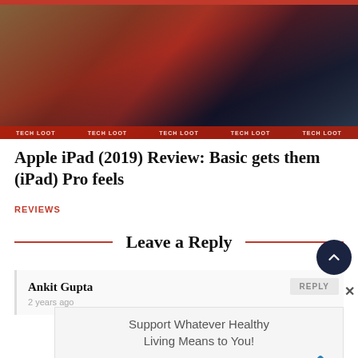[Figure (photo): Photo of Apple iPad 2019 showing the tablet with colorful app icons on screen, placed on a wooden surface. TECHLOOT watermark repeated across bottom.]
Apple iPad (2019) Review: Basic gets them (iPad) Pro feels
REVIEWS
Leave a Reply
Ankit Gupta
REPLY
2 years ago
[Figure (screenshot): Advertisement overlay: 'Support Whatever Healthy Living Means to You!' with Walgreens W logo and blue arrow icon]